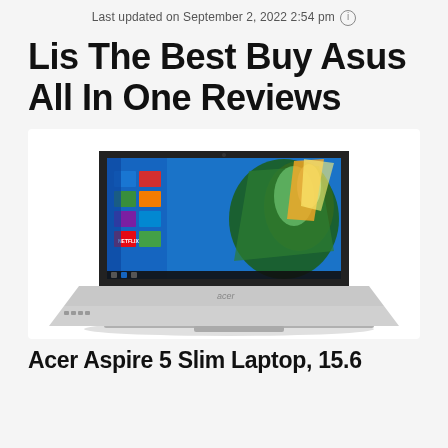Last updated on September 2, 2022 2:54 pm ⓘ
Lis The Best Buy Asus All In One Reviews
[Figure (photo): Acer laptop computer open showing Windows 10 desktop with colorful green and yellow digital art wallpaper, silver body, black keyboard]
Acer Aspire 5 Slim Laptop, 15.6